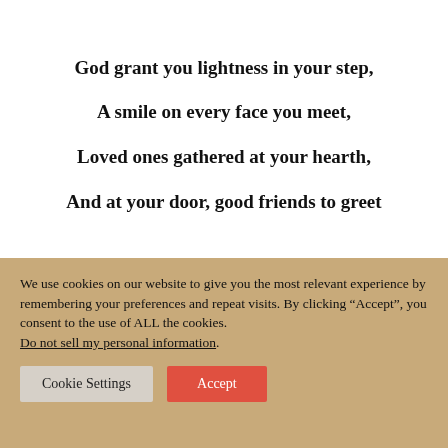God grant you lightness in your step,
A smile on every face you meet,
Loved ones gathered at your hearth,
And at your door, good friends to greet
We use cookies on our website to give you the most relevant experience by remembering your preferences and repeat visits. By clicking “Accept”, you consent to the use of ALL the cookies. Do not sell my personal information.